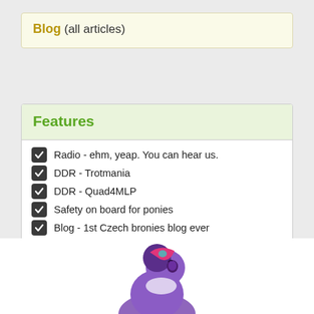Blog (all articles)
Features
Radio - ehm, yeap. You can hear us.
DDR - Trotmania
DDR - Quad4MLP
Safety on board for ponies
Blog - 1st Czech bronies blog ever
More stuffs
Are you looking for social links?
[Figure (other): Social media icons: Twitter (blue bird), Facebook (blue f), YouTube (blue with You/Tube text)]
[Figure (illustration): Partial illustration of a purple pony character at the bottom of the page]